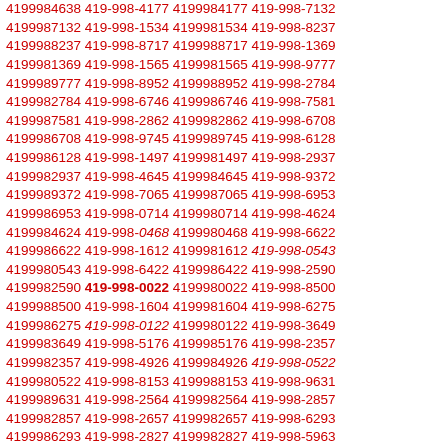4199984638 419-998-4177 4199984177 419-998-7132 4199987132 419-998-1534 4199981534 419-998-8237 4199988237 419-998-8717 4199988717 419-998-1369 4199981369 419-998-1565 4199981565 419-998-9777 4199989777 419-998-8952 4199988952 419-998-2784 4199982784 419-998-6746 4199986746 419-998-7581 4199987581 419-998-2862 4199982862 419-998-6708 4199986708 419-998-9745 4199989745 419-998-6128 4199986128 419-998-1497 4199981497 419-998-2937 4199982937 419-998-4645 4199984645 419-998-9372 4199989372 419-998-7065 4199987065 419-998-6953 4199986953 419-998-0714 4199980714 419-998-4624 4199984624 419-998-0468 4199980468 419-998-6622 4199986622 419-998-1612 4199981612 419-998-0543 4199980543 419-998-6422 4199986422 419-998-2590 4199982590 419-998-0022 4199980022 419-998-8500 4199988500 419-998-1604 4199981604 419-998-6275 4199986275 419-998-0122 4199980122 419-998-3649 4199983649 419-998-5176 4199985176 419-998-2357 4199982357 419-998-4926 4199984926 419-998-0522 4199980522 419-998-8153 4199988153 419-998-9631 4199989631 419-998-2564 4199982564 419-998-2857 4199982857 419-998-2657 4199982657 419-998-6293 4199986293 419-998-2827 4199982827 419-998-5963 4199985963 419-998-5986 4199985986 419-998-3876 4199983876 419-998-5493 4199985493 419-998-5885